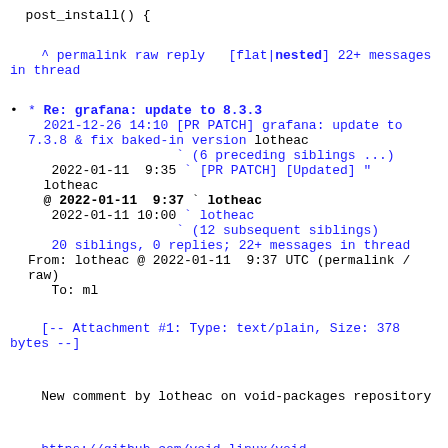post_install() {
^ permalink raw reply   [flat|nested] 22+ messages in thread
* Re: grafana: update to 8.3.3
2021-12-26 14:10 [PR PATCH] grafana: update to 7.3.8 & fix baked-in version lotheac
                   ` (6 preceding siblings ...)
   2022-01-11  9:35 ` [PR PATCH] [Updated] " lotheac
@ 2022-01-11  9:37 ` lotheac
   2022-01-11 10:00 ` lotheac
                   ` (12 subsequent siblings)
   20 siblings, 0 replies; 22+ messages in thread
From: lotheac @ 2022-01-11  9:37 UTC (permalink / raw)
   To: ml
[-- Attachment #1: Type: text/plain, Size: 378 bytes --]
New comment by lotheac on void-packages repository
https://github.com/void-linux/void-packages/pull/34705#issuecomment-1009764087
Comment:
rewrote commit to use upstream's prebuilt js
files, removing the node dependency, but that